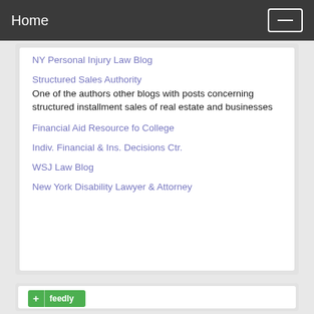Home
NY Personal Injury Law Blog
Structured Sales Authority
One of the authors other blogs with posts concerning structured installment sales of real estate and businesses
Financial Aid Resource fo College
Indiv. Financial & Ins. Decisions Ctr.
WSJ Law Blog
New York Disability Lawyer & Attorney
[Figure (logo): Feedly subscribe button with green background showing a plus sign and 'feedly' text]